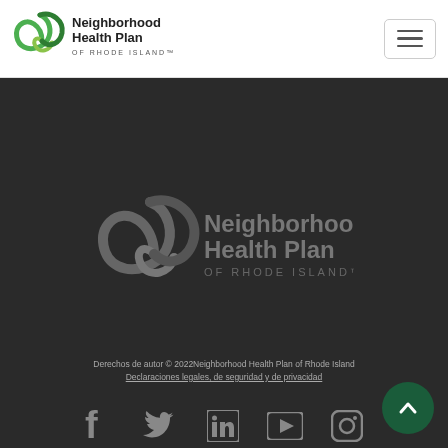[Figure (logo): Neighborhood Health Plan of Rhode Island logo in header - green spiral heart icon with text]
[Figure (logo): Neighborhood Health Plan of Rhode Island logo in footer - gray/dark version of the same logo]
Derechos de autor © 2022Neighborhood Health Plan of Rhode Island
Declaraciones legales, de seguridad y de privacidad
[Figure (infographic): Social media icons row: Facebook, Twitter, LinkedIn, YouTube, Instagram]
[Figure (illustration): Back to top button - dark green circle with upward chevron arrow]